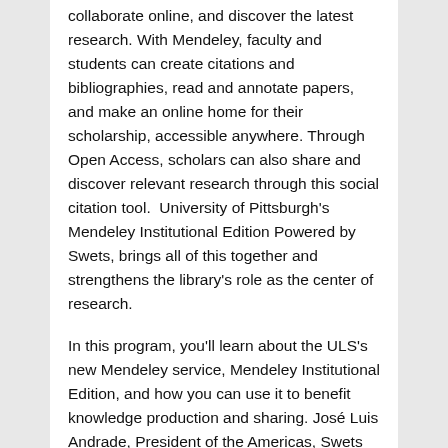collaborate online, and discover the latest research. With Mendeley, faculty and students can create citations and bibliographies, read and annotate papers, and make an online home for their scholarship, accessible anywhere. Through Open Access, scholars can also share and discover relevant research through this social citation tool.  University of Pittsburgh's Mendeley Institutional Edition Powered by Swets, brings all of this together and strengthens the library's role as the center of research.
In this program, you'll learn about the ULS's new Mendeley service, Mendeley Institutional Edition, and how you can use it to benefit knowledge production and sharing. José Luis Andrade, President of the Americas, Swets Information Services, and Sujay Darji, Regional Sales Manager, Swets Information Services, will be on hand to discuss how you can use Mendeley Institutional Edition to increase your research reach and impact.
Staff from the ULS Office of Scholarly Communication and Publishing will also present on the latest developments in Open Access and digital publishing.